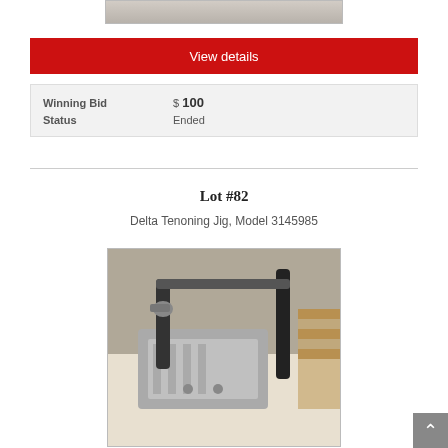[Figure (photo): Top portion of a product photo, partially cropped]
View details
| Winning Bid | $ 100 |
| Status | Ended |
Lot #82
Delta Tenoning Jig, Model 3145985
[Figure (photo): Photo of a Delta Tenoning Jig, Model 3145985 – a grey metal machining jig with black vertical posts on a white surface]